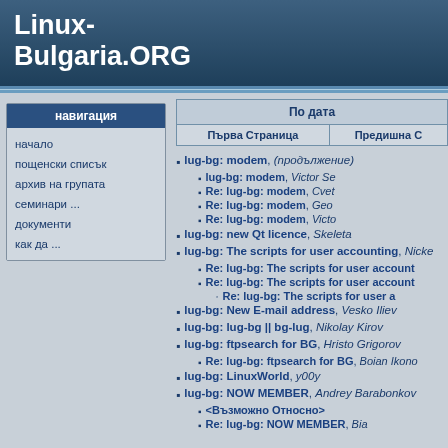Linux-Bulgaria.ORG
навигация
начало
пощенски списък
архив на групата
семинари ...
документи
как да ...
| По дата |
| --- |
| Първа Страница | Предишна С |
lug-bg: modem, (продължение)
lug-bg: modem, Victor Se
Re: lug-bg: modem, Cvet
Re: lug-bg: modem, Geo
Re: lug-bg: modem, Victo
lug-bg: new Qt licence, Skeleta
lug-bg: The scripts for user accounting, Nicke
Re: lug-bg: The scripts for user account
Re: lug-bg: The scripts for user account
Re: lug-bg: The scripts for user a
lug-bg: New E-mail address, Vesko Iliev
lug-bg: lug-bg || bg-lug, Nikolay Kirov
lug-bg: ftpsearch for BG, Hristo Grigorov
Re: lug-bg: ftpsearch for BG, Boian Ikono
lug-bg: LinuxWorld, y00y
lug-bg: NOW MEMBER, Andrey Barabonkov
<Възможно Относно>
Re: lug-bg: NOW MEMBER, Bia